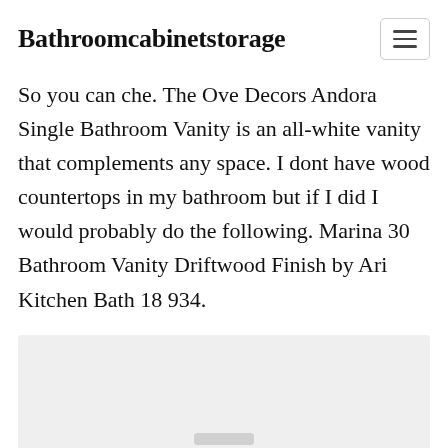Bathroomcabinetstorage
So you can che. The Ove Decors Andora Single Bathroom Vanity is an all-white vanity that complements any space. I dont have wood countertops in my bathroom but if I did I would probably do the following. Marina 30 Bathroom Vanity Driftwood Finish by Ari Kitchen Bath 18 934.
[Figure (photo): Light gray image placeholder area at the bottom of the page]